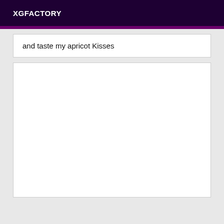XGFACTORY
and taste my apricot Kisses